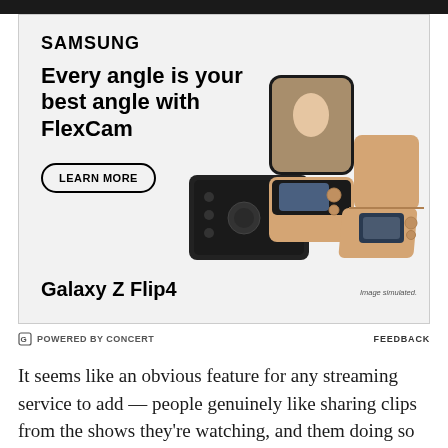[Figure (advertisement): Samsung Galaxy Z Flip4 advertisement featuring FlexCam. Shows Samsung logo, headline 'Every angle is your best angle with FlexCam', a 'LEARN MORE' button, product images of three Galaxy Z Flip4 phones in gold/pink color, and 'Galaxy Z Flip4' product name. Footer reads 'POWERED BY CONCERT' and 'FEEDBACK'. Image simulated disclaimer in bottom right.]
It seems like an obvious feature for any streaming service to add — people genuinely like sharing clips from the shows they're watching, and them doing so